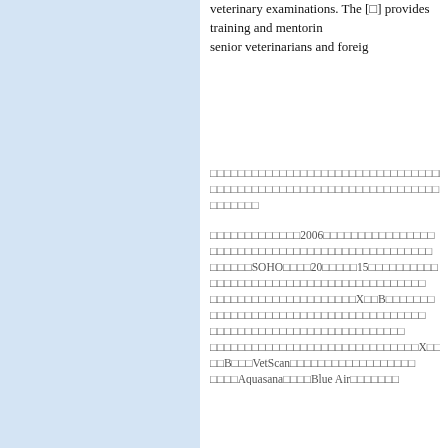veterinary examinations. The [organization] provides training and mentoring for senior veterinarians and foreign [staff]...
[CJK text block 1 - multiple lines of Chinese/Japanese characters]
[CJK text block 2 - multiple lines including references to 2006, SOHO, 20, 15, X, B, VetScan, Aquasana, Blue Air]